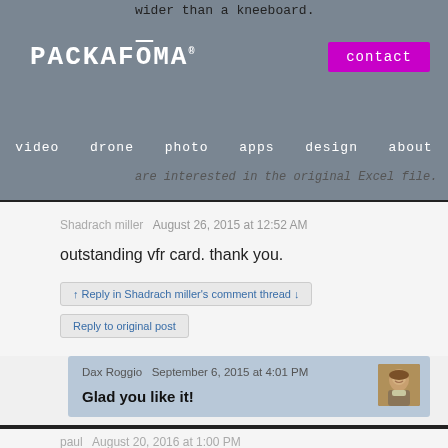wider than a kneeboard.
PACKAFOMA
contact
video   drone   photo   apps   design   about
are interested in the original Excel file.
Shadrach miller   August 26, 2015 at 12:52 AM
outstanding vfr card. thank you.
↑ Reply in Shadrach miller's comment thread ↓
Reply to original post
Dax Roggio   September 6, 2015 at 4:01 PM
Glad you like it!
paul   August 20, 2016 at 1:00 PM